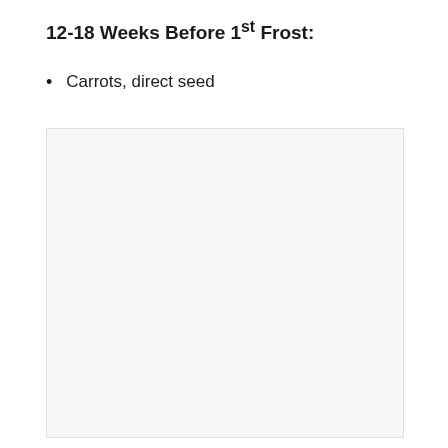12-18 Weeks Before 1st Frost:
Carrots, direct seed
[Figure (other): Light gray empty box placeholder]